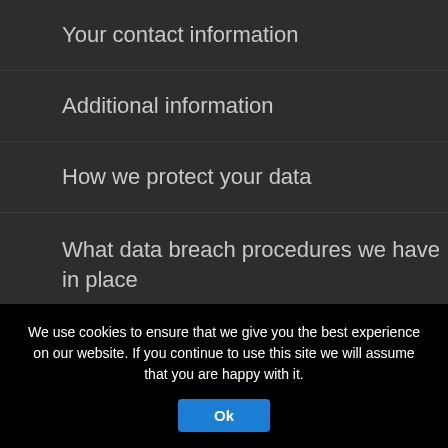Your contact information
Additional information
How we protect your data
What data breach procedures we have in place
What third parties we receive data from
We use cookies to ensure that we give you the best experience on our website. If you continue to use this site we will assume that you are happy with it.
Ok